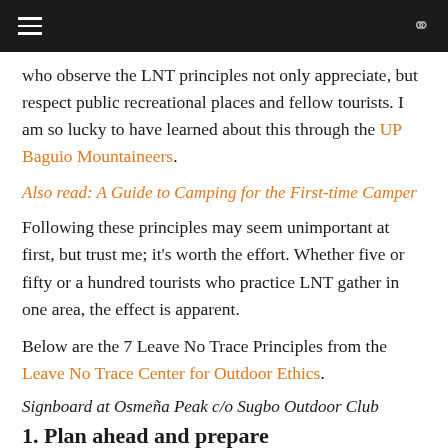navigation bar
who observe the LNT principles not only appreciate, but respect public recreational places and fellow tourists. I am so lucky to have learned about this through the UP Baguio Mountaineers.
Also read: A Guide to Camping for the First-time Camper
Following these principles may seem unimportant at first, but trust me; it’s worth the effort. Whether five or fifty or a hundred tourists who practice LNT gather in one area, the effect is apparent.
Below are the 7 Leave No Trace Principles from the Leave No Trace Center for Outdoor Ethics.
Signboard at Osmeña Peak c/o Sugbo Outdoor Club
1. Plan ahead and prepare